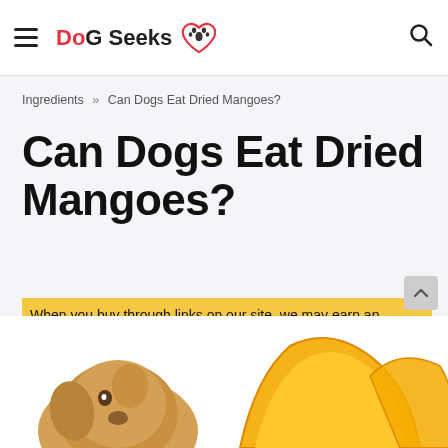DoG Seeks [logo with heart and paw]
Ingredients » Can Dogs Eat Dried Mangoes?
Can Dogs Eat Dried Mangoes?
When you buy through links on our site, we may earn an affiliate commission, but this never influences our opinion.
[Figure (photo): Photo of a golden retriever puppy with dried mango slices]